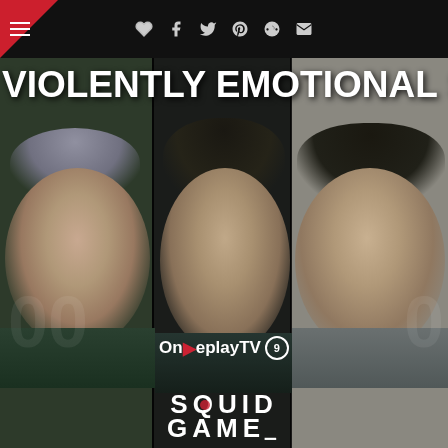≡ ♡ f Twitter Pinterest Reddit ✉
[Figure (photo): Promotional composite image for Squid Game showing three characters in teal prisoner uniforms against dark background panels, with the text 'VIOLENTLY EMOTIONAL STO' overlaid at the top in large white bold letters. Bottom overlay shows OnReplayTV 9 logo and SQUID GAME logo in white text.]